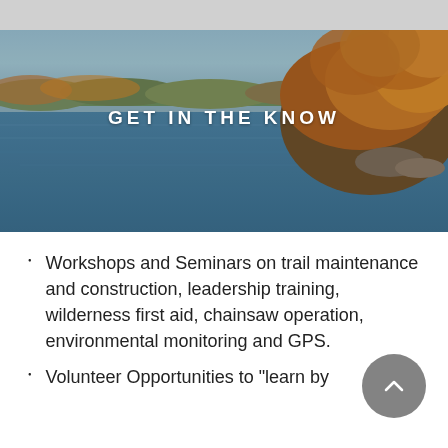[Figure (photo): Autumn lakeside landscape photo with blue water, colorful fall foliage trees on the right bank, and sky. Text overlay reads 'GET IN THE KNOW' in white capital letters.]
Workshops and Seminars on trail maintenance and construction, leadership training, wilderness first aid, chainsaw operation, environmental monitoring and GPS.
Volunteer Opportunities to "learn by